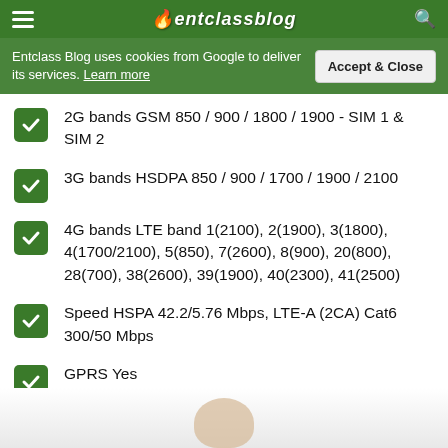entclassblog
Entclass Blog uses cookies from Google to deliver its services. Learn more
2G bands GSM 850 / 900 / 1800 / 1900 - SIM 1 & SIM 2
3G bands HSDPA 850 / 900 / 1700 / 1900 / 2100
4G bands LTE band 1(2100), 2(1900), 3(1800), 4(1700/2100), 5(850), 7(2600), 8(900), 20(800), 28(700), 38(2600), 39(1900), 40(2300), 41(2500)
Speed HSPA 42.2/5.76 Mbps, LTE-A (2CA) Cat6 300/50 Mbps
GPRS Yes
EDGE Yes